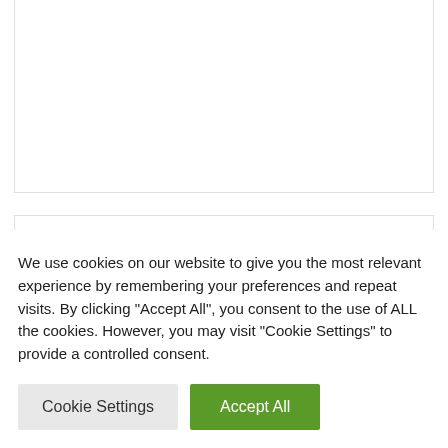[Figure (other): White card area at top of page, partially visible content area]
USER COMMENTS & SUBMISSIONS
We welcome your comments regarding our Site and services. To submit your comments
We use cookies on our website to give you the most relevant experience by remembering your preferences and repeat visits. By clicking "Accept All", you consent to the use of ALL the cookies. However, you may visit "Cookie Settings" to provide a controlled consent.